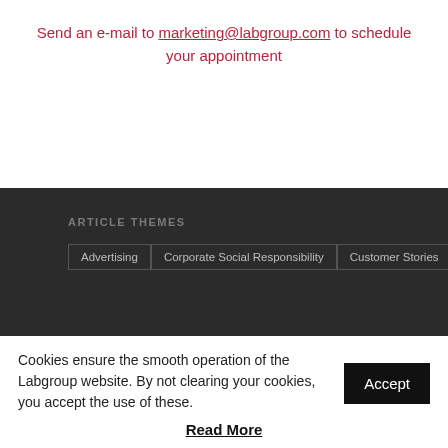Send an e-mail to marketing@labgroup.com to schedule your appointment
ARTICLE THEMES
Advertising
Corporate Social Responsibility
Customer Stories
Cookies ensure the smooth operation of the Labgroup website. By not clearing your cookies, you accept the use of these.
Read More